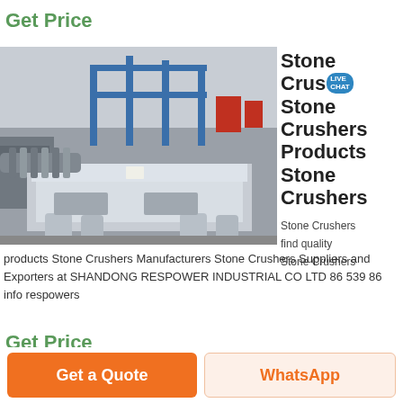Get Price
[Figure (photo): Industrial stone crusher machine in a factory/warehouse setting, showing a large grey metal frame/table structure with a screw mechanism, surrounded by industrial machinery and blue steel framework in the background.]
Stone Crushers Stone Crushers Products Stone Crushers
Stone Crushers
find quality
Stone Crushers
products Stone Crushers Manufacturers Stone Crushers Suppliers and Exporters at SHANDONG RESPOWER INDUSTRIAL CO LTD 86 539 86 info respowers
Get Price